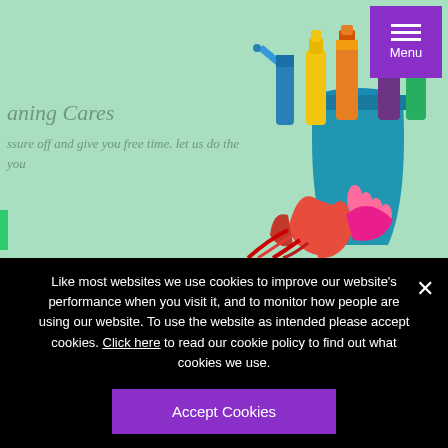[Figure (photo): Cleaning supplies including bottles, spray bottles, bucket, and red rubber gloves on a light green background. A purple menu button with hamburger icon is in the top right corner.]
aning Cares
ssure off and give you free time. let us do the you
Like most websites we use cookies to improve our website’s performance when you visit it, and to monitor how people are using our website. To use the website as intended please accept cookies. Click here to read our cookie policy to find out what cookies we use.
Accept Cookies